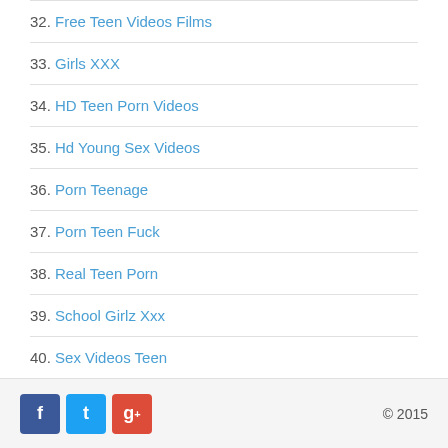32. Free Teen Videos Films
33. Girls XXX
34. HD Teen Porn Videos
35. Hd Young Sex Videos
36. Porn Teenage
37. Porn Teen Fuck
38. Real Teen Porn
39. School Girlz Xxx
40. Sex Videos Teen
© 2015